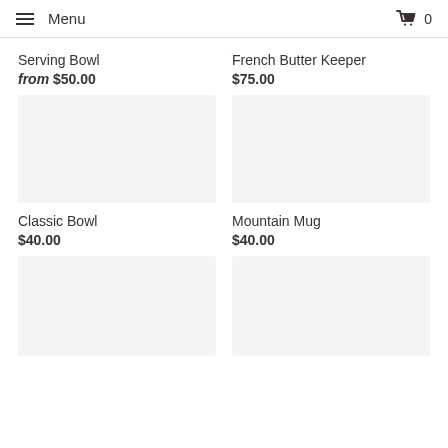Menu  0
Serving Bowl
from $50.00
[Figure (photo): Product image placeholder for Serving Bowl]
French Butter Keeper
$75.00
[Figure (photo): Product image placeholder for French Butter Keeper]
Classic Bowl
$40.00
[Figure (photo): Product image placeholder for Classic Bowl]
Mountain Mug
$40.00
[Figure (photo): Product image placeholder for Mountain Mug]
[Figure (photo): Product image placeholder bottom left]
[Figure (photo): Product image placeholder bottom right]